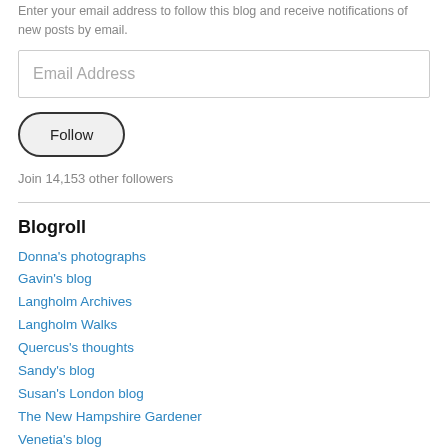Enter your email address to follow this blog and receive notifications of new posts by email.
Email Address
Follow
Join 14,153 other followers
Blogroll
Donna's photographs
Gavin's blog
Langholm Archives
Langholm Walks
Quercus's thoughts
Sandy's blog
Susan's London blog
The New Hampshire Gardener
Venetia's blog